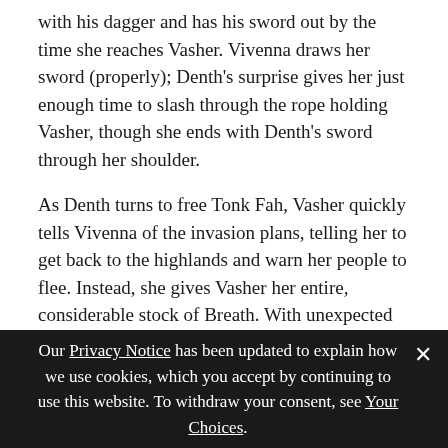with his dagger and has his sword out by the time she reaches Vasher. Vivenna draws her sword (properly); Denth's surprise gives her just enough time to slash through the rope holding Vasher, though she ends with Denth's sword through her shoulder.
As Denth turns to free Tonk Fah, Vasher quickly tells Vivenna of the invasion plans, telling her to get back to the highlands and warn her people to flee. Instead, she gives Vasher her entire, considerable stock of Breath. With unexpected strength, Vasher stands, wrapping the rope around his waist and picking up her sword. Denth is clearly excited by the chance to duel Vasher, and the first exchange of blows proves that Denth is by
Our Privacy Notice has been updated to explain how we use cookies, which you accept by continuing to use this website. To withdraw your consent, see Your Choices.